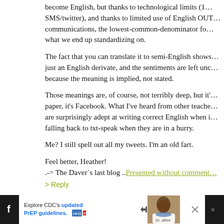become English, but thanks to technological limits (1... SMS/twitter), and thanks to limited use of English OUT... communications, the lowest-common-denominator fo... what we end up standardizing on.
The fact that you can translate it to semi-English shows... just an English derivate, and the sentiments are left unc... because the meaning is implied, not stated.
Those meanings are, of course, not terribly deep, but it'... paper, it's Facebook. What I've heard from other teache... are surprisingly adept at writing correct English when i... falling back to txt-speak when they are in a hurry.
Me? I still spell out all my tweets. I'm an old fart.
Feel better, Heather!
.-= The Daver´s last blog ..Presented without comment...
> Reply
47. Marisol says:
MAY 5TH, 2010 AT 5:47 AM
[Figure (screenshot): Advertisement banner at the bottom: Explore CDC's updated PrEP guidelines. with an image of a smiling person in medical attire. Dark sidebars with social media icons and close button.]